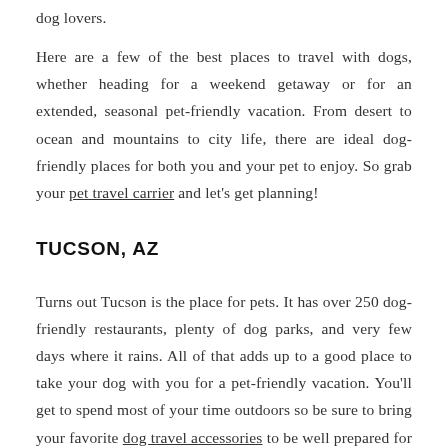dog lovers.
Here are a few of the best places to travel with dogs, whether heading for a weekend getaway or for an extended, seasonal pet-friendly vacation. From desert to ocean and mountains to city life, there are ideal dog-friendly places for both you and your pet to enjoy. So grab your pet travel carrier and let's get planning!
TUCSON, AZ
Turns out Tucson is the place for pets. It has over 250 dog-friendly restaurants, plenty of dog parks, and very few days where it rains. All of that adds up to a good place to take your dog with you for a pet-friendly vacation. You'll get to spend most of your time outdoors so be sure to bring your favorite dog travel accessories to be well prepared for the adventures that await. As one of the best places to travel with dogs,